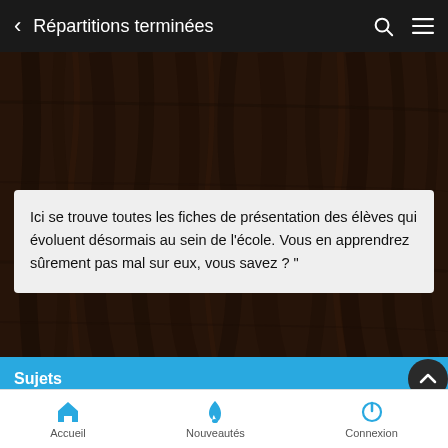Répartitions terminées
[Figure (screenshot): Wood grain dark brown texture background]
Ici se trouve toutes les fiches de présentation des élèves qui évoluent désormais au sein de l'école. Vous en apprendrez sûrement pas mal sur eux, vous savez ? "
Sujets
« blood is really warm, it's like
Accueil   Nouveautés   Connexion